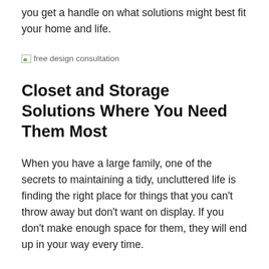you get a handle on what solutions might best fit your home and life.
[Figure (photo): Broken image placeholder labeled 'free design consultation']
Closet and Storage Solutions Where You Need Them Most
When you have a large family, one of the secrets to maintaining a tidy, uncluttered life is finding the right place for things that you can't throw away but don't want on display. If you don't make enough space for them, they will end up in your way every time.